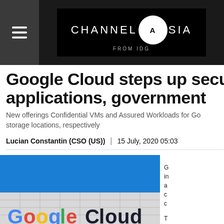Channel Asia from IDG
Google Cloud steps up security for applications, government
New offerings Confidential VMs and Assured Workloads for Go... storage locations, respectively
Lucian Constantin (CSO (US)) | 15 July, 2020 05:03
[Figure (photo): Google Cloud signage on a building with blue sky background showing colorful Google Cloud logo letters]
G... in... a... c... c... T... re...